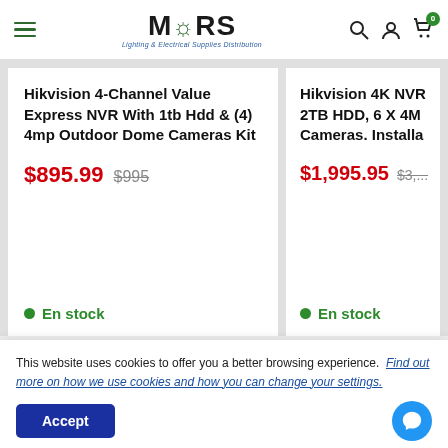MARS Lighting & Electrical Supplies Distribution
Hikvision 4-Channel Value Express NVR With 1tb Hdd & (4) 4mp Outdoor Dome Cameras Kit — $895.99 (was $995) — En stock
Hikvision 4K NVR 2TB HDD, 6 X 4M Cameras. Installa... — $1,995.95 (was $3,...) — En stock
This website uses cookies to offer you a better browsing experience. Find out more on how we use cookies and how you can change your settings.
Accept
Free delivery within GTA*